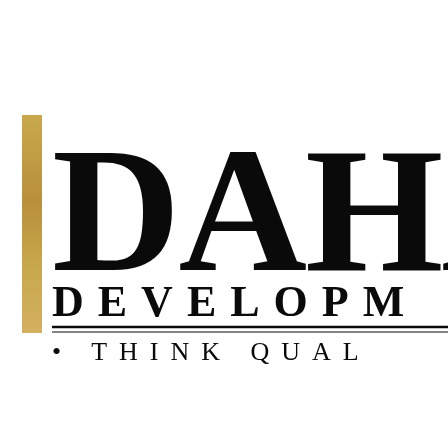[Figure (logo): DAHA DEVELOPMENT logo with gold vertical bar on left, large serif bold text 'DAHA' partially cropped, 'DEVELOPMENT' below in spaced caps, double horizontal rule, and tagline '• THINK QUALITY' in spaced caps]